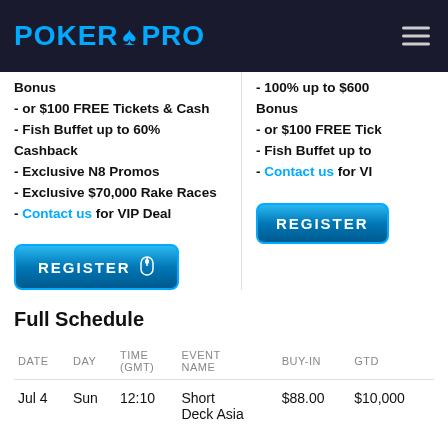POKER PRO
Bonus
- or $100 FREE Tickets & Cash
- Fish Buffet up to 60% Cashback
- Exclusive N8 Promos
- Exclusive $70,000 Rake Races
- Contact us for VIP Deal
- 100% up to $600 Bonus
- or $100 FREE Tick...
- Fish Buffet up to...
- Contact us for VI...
Full Schedule
| DATE | DAY | TIME (GMT) | EVENT NAME | BUY-IN | GTD |
| --- | --- | --- | --- | --- | --- |
| Jul 4 | Sun | 12:10 | Short Deck Asia | $88.00 | $10,000 |